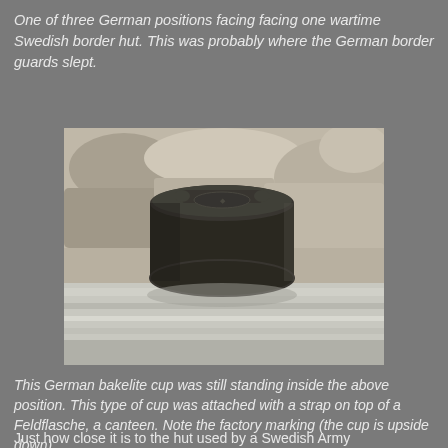One of three German positions facing facing one wartime Swedish border hut. This was probably where the German border guards slept.
[Figure (photo): A dark olive/black German bakelite cup (Feldflasche cup) sitting upside down on rocky/stone surface outdoors, showing factory marking on bottom. Background shows rocks and stone slabs.]
This German bakelite cup was still standing inside the above position. This type of cup was attached with a strap on top of a Feldflasche, a canteen. Note the factory marking (the cup is upside down).
Just how close it is to the hut used by a Swedish Army